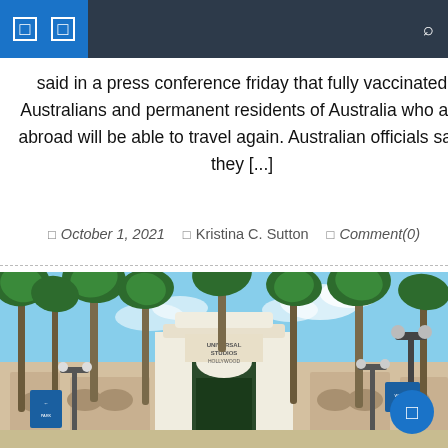Navigation bar with menu icons and search
said in a press conference friday that fully vaccinated Australians and permanent residents of Australia who are abroad will be able to travel again. Australian officials said they [...]
October 1, 2021  Kristina C. Sutton  Comment(0)
[Figure (photo): Photo of Universal Studios entrance gate with palm trees and street lamps under a blue sky]